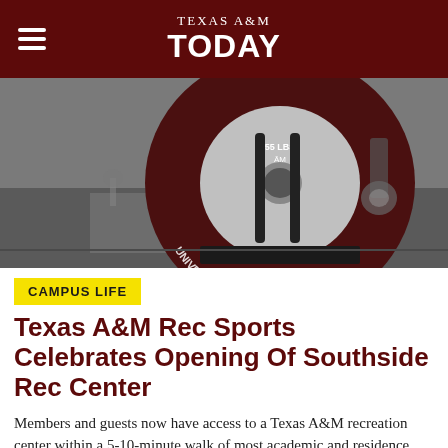TEXAS A&M TODAY
[Figure (photo): Close-up photo of a maroon and silver Texas A&M University branded 55 LB weight plate on a rack in a gym/recreation center setting]
CAMPUS LIFE
Texas A&M Rec Sports Celebrates Opening Of Southside Rec Center
Members and guests now have access to a Texas A&M recreation center within a 5-10-minute walk of most academic and residence